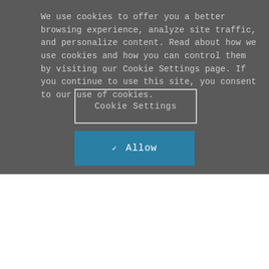We use cookies to offer you a better browsing experience, analyze site traffic, and personalize content. Read about how we use cookies and how you can control them by visiting our Cookie Settings page. If you continue to use this site, you consent to our use of cookies.
Cookie Settings
✓ Allow